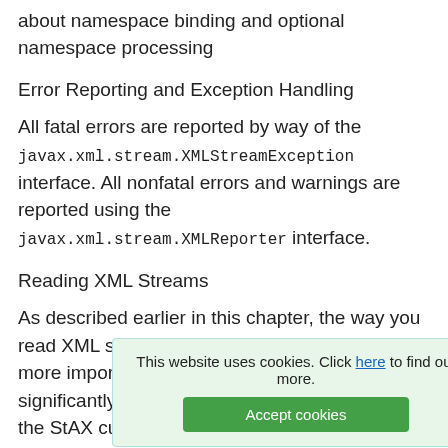about namespace binding and optional namespace processing
Error Reporting and Exception Handling
All fatal errors are reported by way of the javax.xml.stream.XMLStreamException interface. All nonfatal errors and warnings are reported using the javax.xml.stream.XMLReporter interface.
Reading XML Streams
As described earlier in this chapter, the way you read XML streams with a StAX processorand more importantly, what you get backvaries significantly depending on whether you are using the StAX cursor API or the event iterator API. The following two sections describe how to read XML streams with each of these APIs.
Us
This website uses cookies. Click here to find out more. Accept cookies
The XMLStreamReader interface in the StAX cursor API lets you